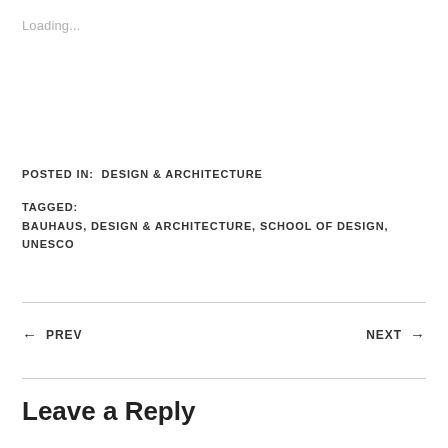Loading...
POSTED IN:  DESIGN & ARCHITECTURE
TAGGED:
BAUHAUS, DESIGN & ARCHITECTURE, SCHOOL OF DESIGN, UNESCO
← PREV
NEXT →
Leave a Reply